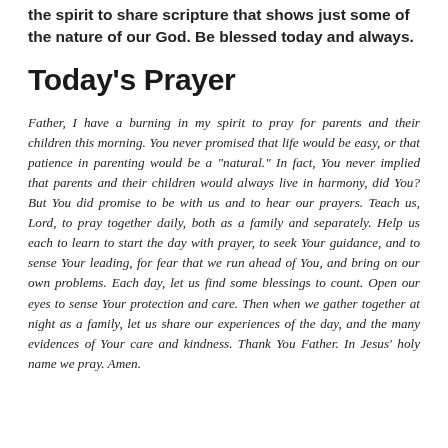the spirit to share scripture that shows just some of the nature of our God. Be blessed today and always.
Today's Prayer
Father, I have a burning in my spirit to pray for parents and their children this morning. You never promised that life would be easy, or that patience in parenting would be a "natural." In fact, You never implied that parents and their children would always live in harmony, did You? But You did promise to be with us and to hear our prayers. Teach us, Lord, to pray together daily, both as a family and separately. Help us each to learn to start the day with prayer, to seek Your guidance, and to sense Your leading, for fear that we run ahead of You, and bring on our own problems. Each day, let us find some blessings to count. Open our eyes to sense Your protection and care. Then when we gather together at night as a family, let us share our experiences of the day, and the many evidences of Your care and kindness. Thank You Father. In Jesus' holy name we pray. Amen.